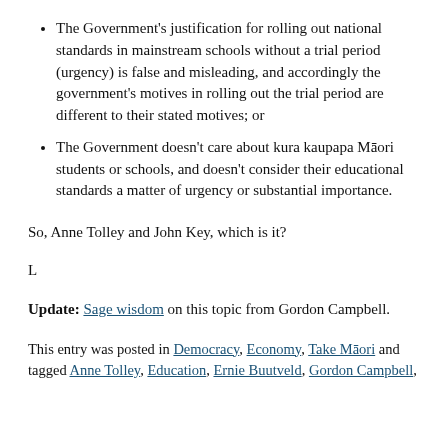The Government's justification for rolling out national standards in mainstream schools without a trial period (urgency) is false and misleading, and accordingly the government's motives in rolling out the trial period are different to their stated motives; or
The Government doesn't care about kura kaupapa Māori students or schools, and doesn't consider their educational standards a matter of urgency or substantial importance.
So, Anne Tolley and John Key, which is it?
L
Update: Sage wisdom on this topic from Gordon Campbell.
This entry was posted in Democracy, Economy, Take Māori and tagged Anne Tolley, Education, Ernie Buutveld, Gordon Campbell,